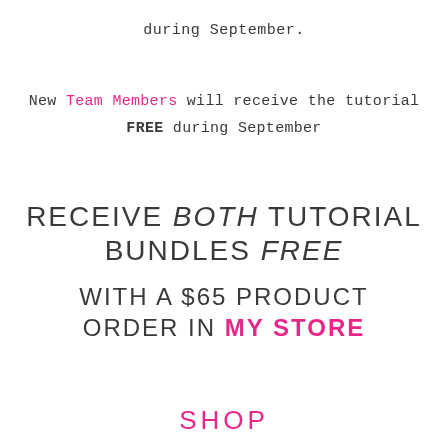during September.
New Team Members will receive the tutorial FREE during September
RECEIVE BOTH TUTORIAL BUNDLES FREE WITH A $65 PRODUCT ORDER IN MY STORE
SHOP